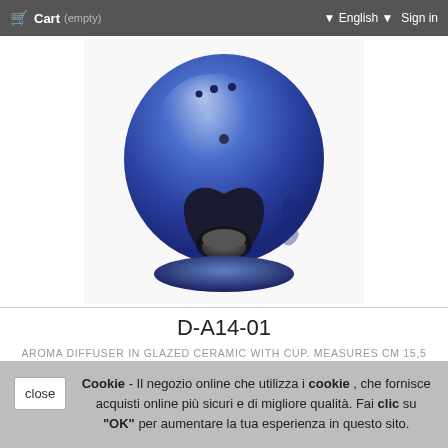Cart (empty)   English   Sign in
[Figure (photo): Blue glazed ceramic aroma diffuser with candle cup opening, top-down angled view showing the heart-shaped opening with a candle inside, gradient from blue to white ceramic glaze]
D-A14-01
AROMA DIFFUSER IN GLAZED CERAMIC WITH CUP. MEASURES CM 15,5 X 9,5
COLORS AND ENAMELS WITHOUT LEAD.
Cookie - Il negozio online che utilizza i cookie , che fornisce acquisti online più sicuri e di migliore qualità. Fai clic su "OK" per aumentare la tua esperienza in questo sito.